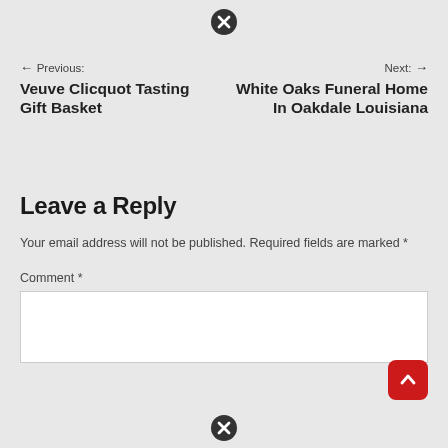[Figure (other): Close/dismiss icon (X in circle) at top center of page]
← Previous: Veuve Clicquot Tasting Gift Basket
Next: → White Oaks Funeral Home In Oakdale Louisiana
Leave a Reply
Your email address will not be published. Required fields are marked *
Comment *
[Figure (other): Comment text area input box (white rectangle)]
[Figure (other): Red scroll-to-top button with upward arrow, bottom right]
[Figure (other): Close/dismiss icon (X in circle) at bottom center of page]